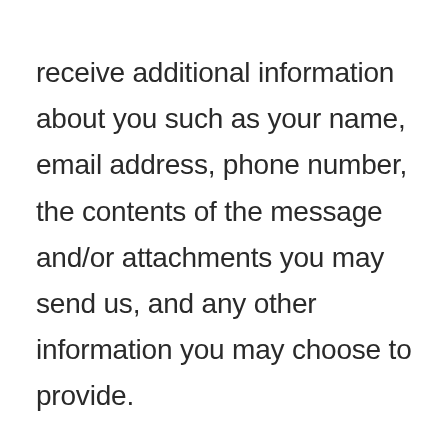receive additional information about you such as your name, email address, phone number, the contents of the message and/or attachments you may send us, and any other information you may choose to provide.
When you register for an Account, we may ask for your contact information, including items such as name, company name, address, email address, and telephone